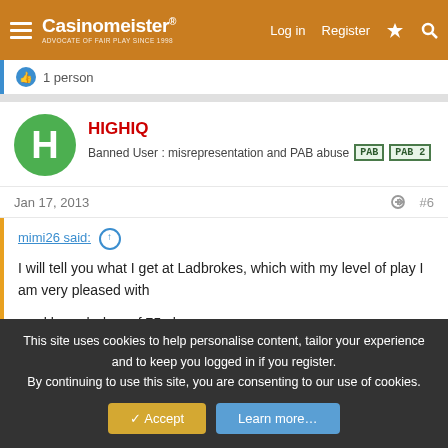Casinomeister | Log in | Register
1 person
HIGHIQ
Banned User : misrepresentation and PAB abuse
Jan 17, 2013   #6
mimi26 said:
I will tell you what I get at Ladbrokes, which with my level of play I am very pleased with

weekly cash drop of 75 gbp

weekly chip bonus (deposit 75 get 50 chips free and 25 gbp worth of
This site uses cookies to help personalise content, tailor your experience and to keep you logged in if you register.
By continuing to use this site, you are consenting to our use of cookies.